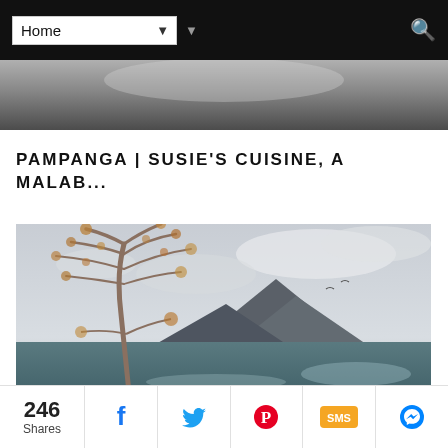Home
[Figure (photo): Partial top image — blurred dark and grey tones, likely a food or interior photo cropped at the top of the page]
PAMPANGA | SUSIE'S CUISINE, A MALAB...
[Figure (photo): Outdoor landscape photo showing a bare tree with orange-brown leaves in the foreground, a large mountain and lake/body of water in the background under a cloudy sky]
246 Shares